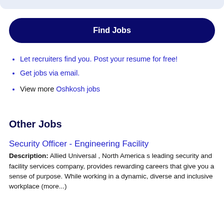Let recruiters find you. Post your resume for free!
Get jobs via email.
View more Oshkosh jobs
Other Jobs
Security Officer - Engineering Facility
Description: Allied Universal , North America s leading security and facility services company, provides rewarding careers that give you a sense of purpose. While working in a dynamic, diverse and inclusive workplace (more...)